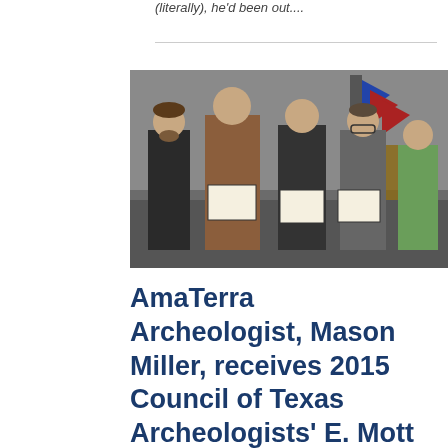(literally), he'd been out....
[Figure (photo): Five people standing in a row holding framed certificates/awards in a room with flags in the background. One man on the far left, a tall man in a brown jacket holding a certificate, two men in the center holding certificates, and a woman on the right in a green shirt.]
AmaTerra Archeologist, Mason Miller, receives 2015 Council of Texas Archeologists' E. Mott